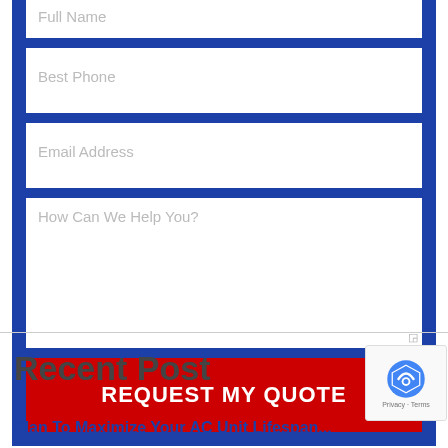[Figure (screenshot): Web contact form with dark blue background containing input fields for Full Name (partially visible at top), Best Phone, Email Address, and a textarea for How Can We Help You?, followed by a red REQUEST MY QUOTE button]
Recent Post
Plan To Maximize Your AC Unit Lifespan...